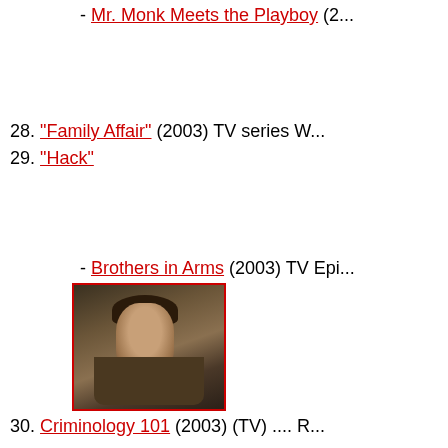- Mr. Monk Meets the Playboy (2...
28. "Family Affair" (2003) TV series W...
29. "Hack"
- Brothers in Arms (2003) TV Epi...
[Figure (photo): A man in a jacket, looking upward, in a dimly lit scene]
30. Criminology 101 (2003) (TV) .... R...
31. The Brady Bunch in the White Hou...
32. I Spy (2002) .... Carlos
33. Cadet Kelly (2002) (TV) .... Genera...
34. (2002) .... Bill C...